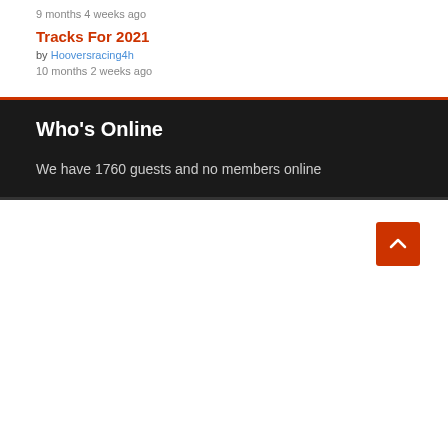9 months 4 weeks ago
Tracks For 2021
by Hooversracing4h
10 months 2 weeks ago
Who's Online
We have 1760 guests and no members online